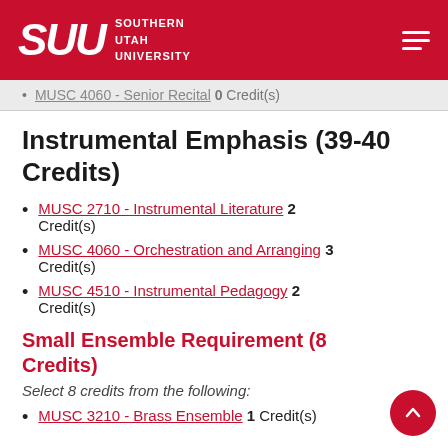SUU — Southern Utah University
MUSC 4060 - Senior Recital 0 Credit(s)
Instrumental Emphasis (39-40 Credits)
MUSC 2710 - Instrumental Literature 2 Credit(s)
MUSC 4060 - Orchestration and Arranging 3 Credit(s)
MUSC 4510 - Instrumental Pedagogy 2 Credit(s)
Small Ensemble Requirement (8 Credits)
Select 8 credits from the following:
MUSC 3210 - Brass Ensemble 1 Credit(s)